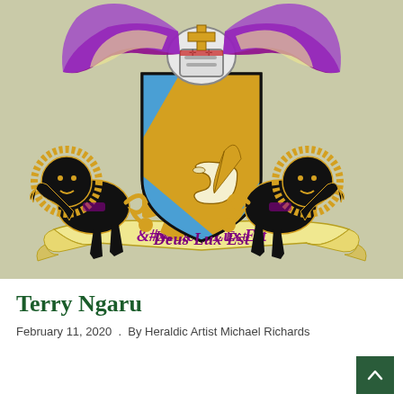[Figure (illustration): Heraldic coat of arms for Terry Ngaru. Central shield in blue (azure) with a gold (or) diagonal band (bend), featuring a gold griffin in the upper left and a gold quill pen with scroll in the lower right. Flanked by two rampant black lions with gold mane details. Above the shield is a knight's helm topped with a gold cross, flanked by purple mantling. Below the shield is a cream/gold ribbon banner inscribed 'Deus Lux Est' in purple Gothic script. Background is sage green.]
Terry Ngaru
February 11, 2020 .  By Heraldic Artist Michael Richards